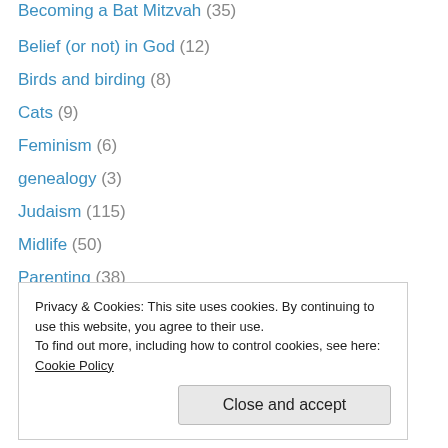Becoming a Bat Mitzvah (35)
Belief (or not) in God (12)
Birds and birding (8)
Cats (9)
Feminism (6)
genealogy (3)
Judaism (115)
Midlife (50)
Parenting (38)
Politics (30)
Rabbi Interviews (5)
Uncategorized (41)
Writing and books (66)
Privacy & Cookies: This site uses cookies. By continuing to use this website, you agree to their use. To find out more, including how to control cookies, see here: Cookie Policy
Close and accept